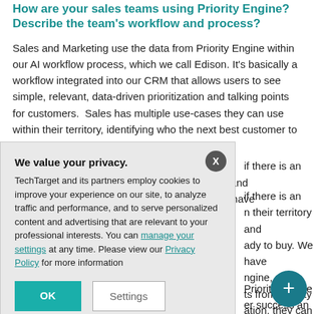How are your sales teams using Priority Engine? Describe the team's workflow and process?
Sales and Marketing use the data from Priority Engine within our AI workflow process, which we call Edison. It's basically a workflow integrated into our CRM that allows users to see simple, relevant, data-driven prioritization and talking points for customers.  Sales has multiple use-cases they can use within their territory, identifying who the next best customer to target is
...if there is an ...n their territory and ...ady to buy. We have ...ngine, and ...ts from Priority ...ation, they can go ...ata insights.
...Priority Engine ...er success an...
[Figure (screenshot): Privacy consent modal dialog overlay with title 'We value your privacy.', body text about TechTarget cookies policy, links to manage settings and Privacy Policy, and two buttons: OK and Settings. A close X button appears in the top-right corner of the modal.]